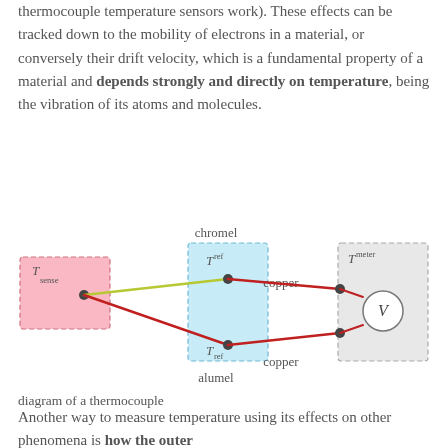thermocouple temperature sensors work). These effects can be tracked down to the mobility of electrons in a material, or conversely their drift velocity, which is a fundamental property of a material and depends strongly and directly on temperature, being the vibration of its atoms and molecules.
[Figure (schematic): Diagram of a thermocouple circuit showing T_sense (pink box, sense junction), chromel wire (yellow-green) and alumel wire (red) connecting to T_ref reference junction box (light blue, dashed), then copper wires connecting to T_meter voltmeter box (gray, dashed) containing a voltmeter V symbol.]
diagram of a thermocouple
Another way to measure temperature using its effects on other phenomena is how the outer